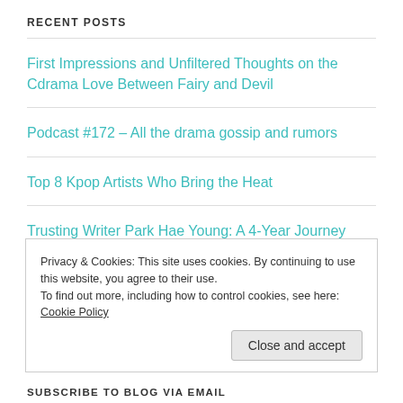RECENT POSTS
First Impressions and Unfiltered Thoughts on the Cdrama Love Between Fairy and Devil
Podcast #172 – All the drama gossip and rumors
Top 8 Kpop Artists Who Bring the Heat
Trusting Writer Park Hae Young: A 4-Year Journey
Privacy & Cookies: This site uses cookies. By continuing to use this website, you agree to their use.
To find out more, including how to control cookies, see here: Cookie Policy
SUBSCRIBE TO BLOG VIA EMAIL